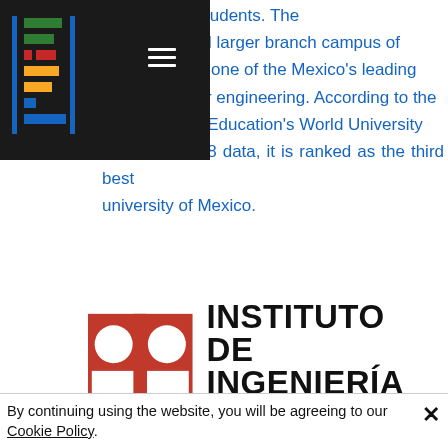[Figure (logo): Dark header overlay with colorful bar chart logo and hamburger menu icon]
over 45,000 students. The UAB of the and larger branch campus of UA and is one of the Mexico's leading universities for engineering. According to the Times Higher Education's World University Rankings 2018 data, it is ranked as the third best university of Mexico.
[Figure (logo): Instituto de Ingeniería UNAM logo — red square with two circular cutouts above two rectangular cutouts, alongside bold text reading INSTITUTO DE INGENIERÍA UNAM]
By continuing using the website, you will be agreeing to our Cookie Policy.